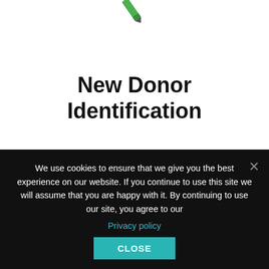[Figure (illustration): Green marker/pen icon partially visible at top center of page]
New Donor Identification
[Figure (illustration): Dollar bill icon with a golden coin showing a dollar sign in the center, surrounded by a dashed circle border]
We use cookies to ensure that we give you the best experience on our website. If you continue to use this site we will assume that you are happy with it. By continuing to use our site, you agree to our Privacy policy
CLOSE